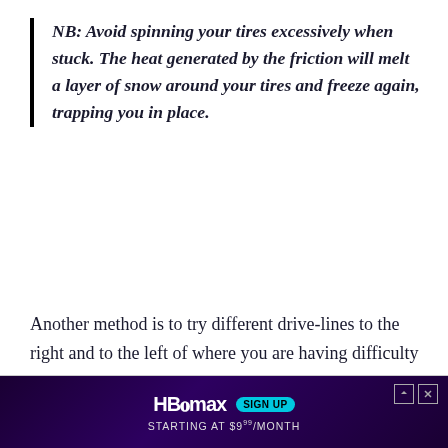NB: Avoid spinning your tires excessively when stuck. The heat generated by the friction will melt a layer of snow around your tires and freeze again, trapping you in place.
Another method is to try different drive-lines to the right and to the left of where you are having difficulty since there might be an easier way to go around that particular slippery section.
[Figure (other): HBO Max advertisement banner. Dark purple background. HBO max logo with SIGN UP badge. Text: STARTING AT $9.99/MONTH]